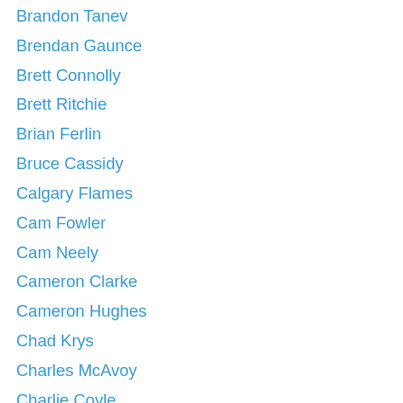Brandon Tanev
Brendan Gaunce
Brett Connolly
Brett Ritchie
Brian Ferlin
Bruce Cassidy
Calgary Flames
Cam Fowler
Cam Neely
Cameron Clarke
Cameron Hughes
Chad Krys
Charles McAvoy
Charlie Coyle
Chris Casto
Chris Wagner
Claude Julien
Cody Franson
Colby Cave
Colin Miller